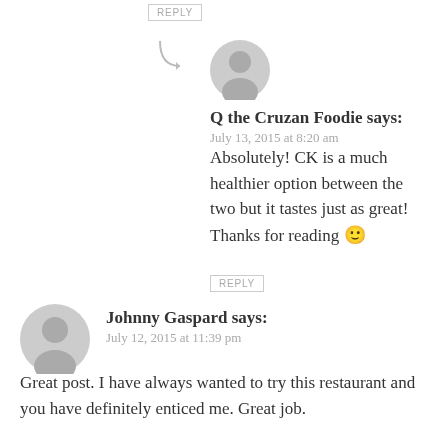REPLY
Q the Cruzan Foodie says:
July 13, 2015 at 8:20 am
Absolutely! CK is a much healthier option between the two but it tastes just as great! Thanks for reading 🙂
REPLY
Johnny Gaspard says:
July 12, 2015 at 11:39 pm
Great post. I have always wanted to try this restaurant and you have definitely enticed me. Great job.
REPLY
Q the Cruzan Foodie says:
July 12, 2015 at 11:49 pm